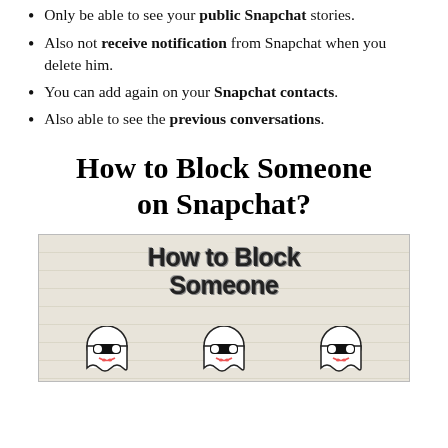Only be able to see your public Snapchat stories.
Also not receive notification from Snapchat when you delete him.
You can add again on your Snapchat contacts.
Also able to see the previous conversations.
How to Block Someone on Snapchat?
[Figure (illustration): Illustrated image with sketchy hand-drawn text reading 'How to Block Someone' on a lined paper background, with three Snapchat ghost characters wearing sunglasses at the bottom.]